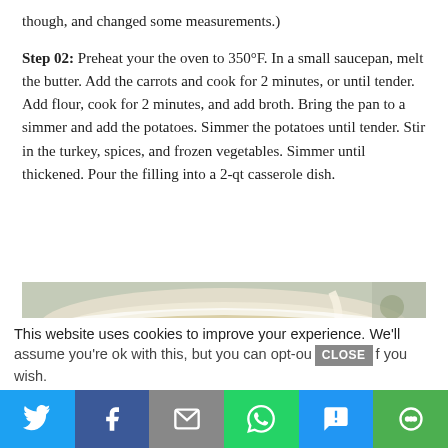though, and changed some measurements.)
Step 02: Preheat your the oven to 350°F. In a small saucepan, melt the butter. Add the carrots and cook for 2 minutes, or until tender. Add flour, cook for 2 minutes, and add broth. Bring the pan to a simmer and add the potatoes. Simmer the potatoes until tender. Stir in the turkey, spices, and frozen vegetables. Simmer until thickened. Pour the filling into a 2-qt casserole dish.
[Figure (photo): A white casserole dish filled with a turkey pot pie filling showing vegetables including carrots, green beans, corn in a creamy broth, with cream being poured in. Dish sits on a floral background.]
This website uses cookies to improve your experience. We'll assume you're ok with this, but you can opt-out if you wish.